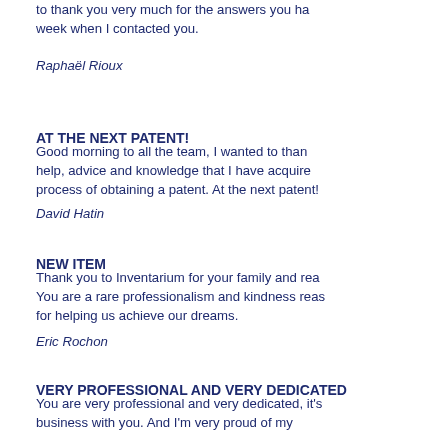to thank you very much for the answers you ha... week when I contacted you.
Raphaël Rioux
AT THE NEXT PATENT!
Good morning to all the team, I wanted to than... help, advice and knowledge that I have acquire... process of obtaining a patent. At the next patent!
David Hatin
NEW ITEM
Thank you to Inventarium for your family and rea... You are a rare professionalism and kindness reas... for helping us achieve our dreams.
Eric Rochon
VERY PROFESSIONAL AND VERY DEDICATED
You are very professional and very dedicated, it's... business with you. And I'm very proud of my...